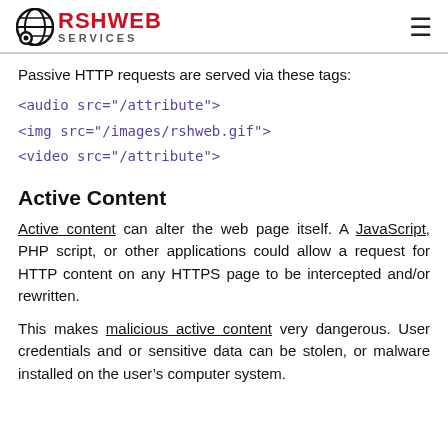RSH WEB SERVICES
Passive HTTP requests are served via these tags:
<audio src="/attribute">
<img src="/images/rshweb.gif">
<video src="/attribute">
Active Content
Active content can alter the web page itself. A JavaScript, PHP script, or other applications could allow a request for HTTP content on any HTTPS page to be intercepted and/or rewritten.
This makes malicious active content very dangerous. User credentials and or sensitive data can be stolen, or malware installed on the user’s computer system.